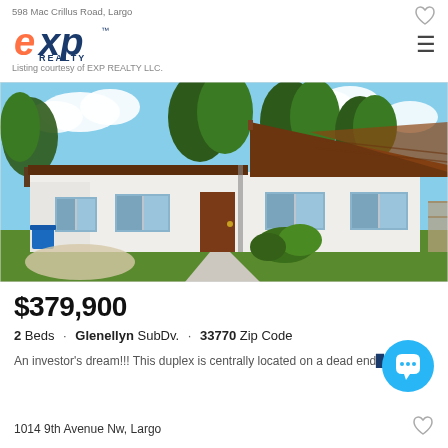598 Mac Crillus Road, Largo
[Figure (logo): eXp Realty logo with orange 'e', blue 'xp' and 'REALTY' text below]
Listing courtesy of EXP REALTY LLC.
[Figure (photo): Exterior photo of a white single-story duplex with dark brown roof and wood siding gable, concrete walkway, green lawn, and shrubs. Blue recycling bin visible on left.]
$379,900
2 Beds · Glenellyn SubDv. · 33770 Zip Code
An investor's dream!!! This duplex is centrally located on a dead end a ...
1014 9th Avenue Nw, Largo